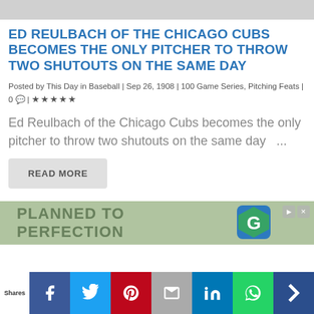[Figure (photo): Partial photo strip at top of page, black and white sports/baseball image]
ED REULBACH OF THE CHICAGO CUBS BECOMES THE ONLY PITCHER TO THROW TWO SHUTOUTS ON THE SAME DAY
Posted by This Day in Baseball | Sep 26, 1908 | 100 Game Series, Pitching Feats | 0 💬 | ★★★★★
Ed Reulbach of the Chicago Cubs becomes the only pitcher to throw two shutouts on the same day  ...
READ MORE
[Figure (photo): Advertisement banner: PLANNED TO PERFECTION with green/blue gardening logo (G)]
Shares